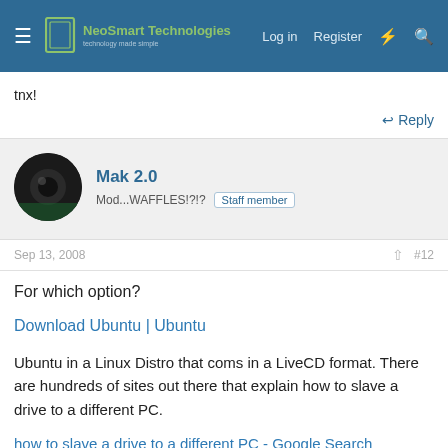NeoSmart Technologies — Log in  Register
tnx!
↩ Reply
Mak 2.0
Mod...WAFFLES!?!?  Staff member
Sep 13, 2008  #12
For which option?
Download Ubuntu | Ubuntu
Ubuntu in a Linux Distro that coms in a LiveCD format. There are hundreds of sites out there that explain how to slave a drive to a different PC.
how to slave a drive to a different PC - Google Search